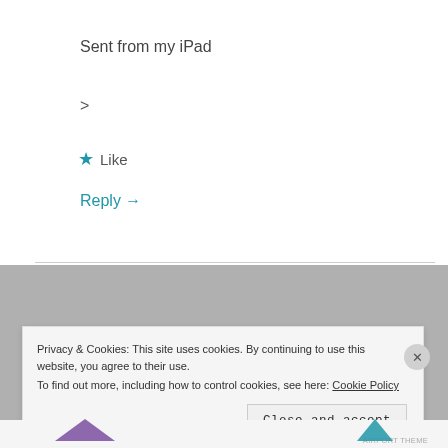Sent from my iPad
>
★ Like
Reply →
Privacy & Cookies: This site uses cookies. By continuing to use this website, you agree to their use.
To find out more, including how to control cookies, see here: Cookie Policy
Close and accept